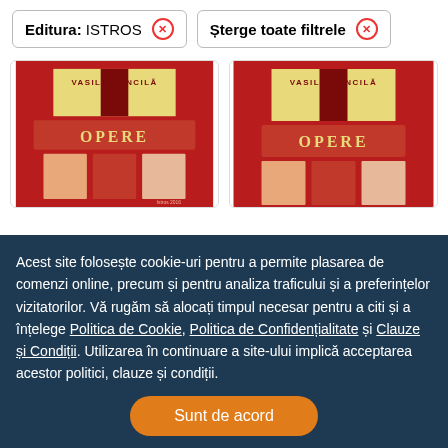Editura: ISTROS ✕
Șterge toate filtrele ✕
[Figure (photo): Book cover: Vasile Băncilă - Opere, red cover with yellow and orange rectangular design, published by Istros]
[Figure (photo): Book cover: Vasile Băncilă - Opere, red cover with yellow and orange rectangular design, published by Istros (second volume)]
Acest site folosește cookie-uri pentru a permite plasarea de comenzi online, precum și pentru analiza traficului și a preferințelor vizitatorilor. Vă rugăm să alocați timpul necesar pentru a citi și a înțelege Politica de Cookie, Politica de Confidențialitate și Clauze și Condiții. Utilizarea în continuare a site-ului implică acceptarea acestor politici, clauze și condiții.
Sunt de acord